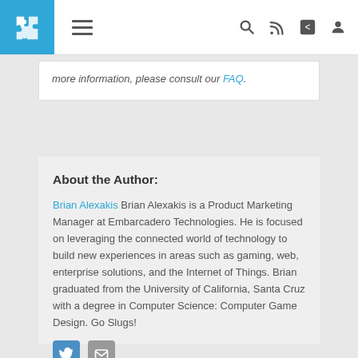Navigation bar with logo, hamburger menu, search, RSS, share, and profile icons
more information, please consult our FAQ.
About the Author:
Brian Alexakis Brian Alexakis is a Product Marketing Manager at Embarcadero Technologies. He is focused on leveraging the connected world of technology to build new experiences in areas such as gaming, web, enterprise solutions, and the Internet of Things. Brian graduated from the University of California, Santa Cruz with a degree in Computer Science: Computer Game Design. Go Slugs!
[Figure (other): Social media icons: Twitter bird icon and email envelope icon]